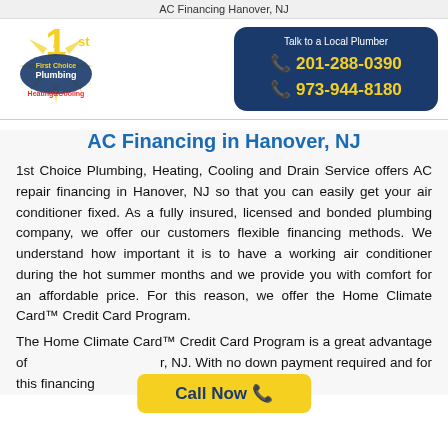AC Financing Hanover, NJ
[Figure (logo): 1st First Choice Plumbing Heating & Cooling logo with gold star and burst]
Talk to a Local Plumber
201-288-0390
973-944-8180
AC Financing in Hanover, NJ
1st Choice Plumbing, Heating, Cooling and Drain Service offers AC repair financing in Hanover, NJ so that you can easily get your air conditioner fixed. As a fully insured, licensed and bonded plumbing company, we offer our customers flexible financing methods. We understand how important it is to have a working air conditioner during the hot summer months and we provide you with comfort for an affordable price. For this reason, we offer the Home Climate Card™ Credit Card Program.
The Home Climate Card™ Credit Card Program is a great advantage of ... r, NJ. With no down payment required, and...
Call Now